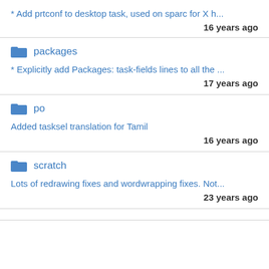* Add prtconf to desktop task, used on sparc for X h...
16 years ago
packages
* Explicitly add Packages: task-fields lines to all the ...
17 years ago
po
Added tasksel translation for Tamil
16 years ago
scratch
Lots of redrawing fixes and wordwrapping fixes. Not...
23 years ago